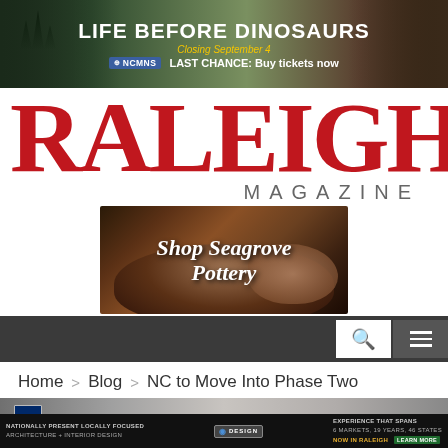[Figure (screenshot): Banner advertisement for 'Life Before Dinosaurs' exhibition at NCMNS. Dark green/forest background with dinosaur imagery. Text: LIFE BEFORE DINOSAURS, Closing September 4, NCMNS, LAST CHANCE: Buy tickets now]
RALEIGH MAGAZINE
[Figure (photo): Advertisement image showing pottery being shaped on a wheel with text overlay: Shop Seagrove Pottery]
[Figure (screenshot): Navigation bar with search icon and hamburger menu icon]
Home > Blog > NC to Move Into Phase Two
[Figure (screenshot): Article header image showing State of North Carolina text in gray/silver tones with NC flag]
[Figure (screenshot): Bottom banner advertisement: Nationally Present Locally Focused, Architecture + Interior Design, Design logo, Experience that Spans 6 Markets 19 Years 46 States, Now in Raleigh, Learn More button]